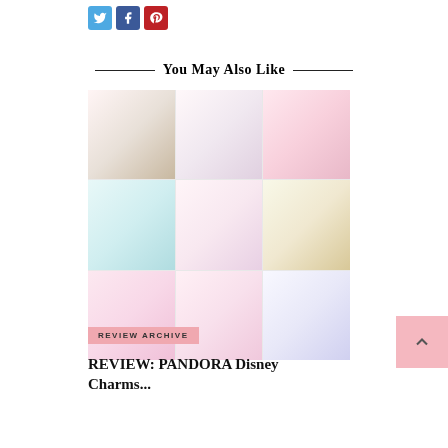[Figure (other): Social media share buttons: Twitter (blue), Facebook (dark blue), Pinterest (red)]
You May Also Like
[Figure (photo): Collage of 9 images showing Pandora Disney charm bracelets and jewelry in a 3x3 grid]
REVIEW ARCHIVE
REVIEW: PANDORA Disney Charms...